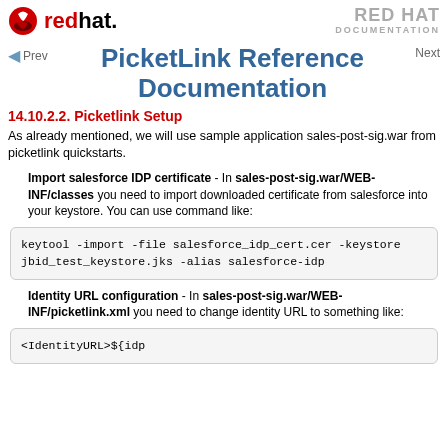Red Hat Documentation — PicketLink Reference Documentation
PicketLink Reference Documentation
14.10.2.2. Picketlink Setup
As already mentioned, we will use sample application sales-post-sig.war from picketlink quickstarts.
Import salesforce IDP certificate - In sales-post-sig.war/WEB-INF/classes you need to import downloaded certificate from salesforce into your keystore. You can use command like:
keytool -import -file salesforce_idp_cert.cer -keystore jbid_test_keystore.jks -alias salesforce-idp
Identity URL configuration - In sales-post-sig.war/WEB-INF/picketlink.xml you need to change identity URL to something like:
<IdentityURL>${idp